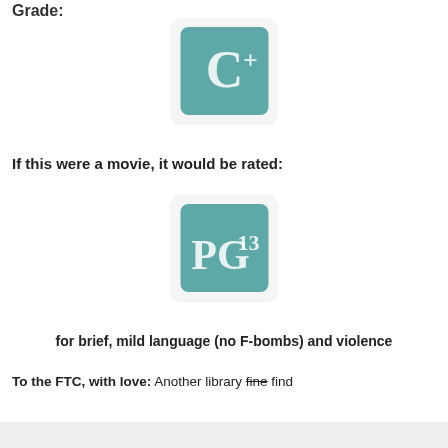Grade:
[Figure (illustration): C+ grade badge: teal rounded square with white C+ text]
If this were a movie, it would be rated:
[Figure (illustration): PG-13 movie rating badge: teal rounded square with white PG and superscript 13]
for brief, mild language (no F-bombs) and violence
To the FTC, with love:  Another library fine find